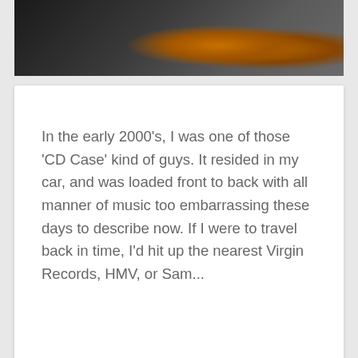[Figure (photo): Close-up photo of electronic equipment or cassette deck with dark grey metal and glowing amber/orange lights]
In the early 2000's, I was one of those 'CD Case' kind of guys. It resided in my car, and was loaded front to back with all manner of music too embarrassing these days to describe now. If I were to travel back in time, I'd hit up the nearest Virgin Records, HMV, or Sam...
Continue Reading →
May 4, 2019   0